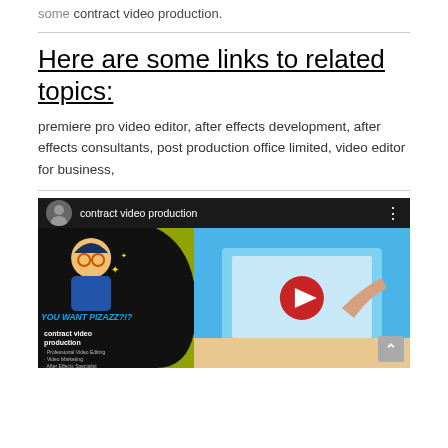some contract video production.
Here are some links to related topics:
premiere pro video editor, after effects development, after effects consultants, post production office limited, video editor for business,
[Figure (screenshot): YouTube video thumbnail for 'contract video production' showing a cartoon woman with text 'YOU WANT PIZAZZ?!?' and bullet points about video production services, alongside a laptop image with a play button overlay]